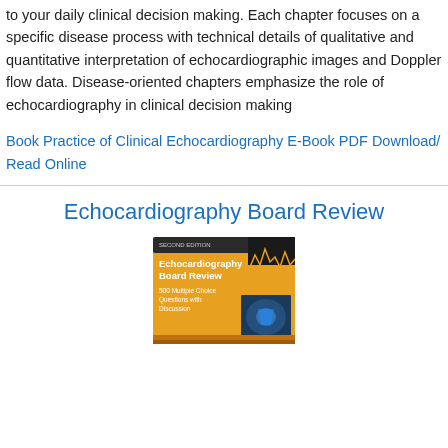to your daily clinical decision making. Each chapter focuses on a specific disease process with technical details of qualitative and quantitative interpretation of echocardiographic images and Doppler flow data. Disease-oriented chapters emphasize the role of echocardiography in clinical decision making
Book Practice of Clinical Echocardiography E-Book PDF Download/ Read Online
Echocardiography Board Review
[Figure (photo): Book cover of 'Echocardiography Board Review, Second Edition' with orange/gold background, showing title text and echocardiography image.]